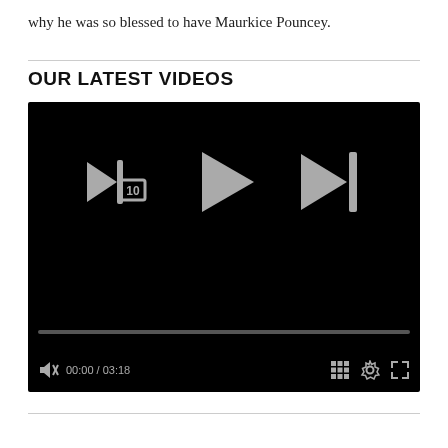why he was so blessed to have Maurkice Pouncey.
OUR LATEST VIDEOS
[Figure (screenshot): A video player with black background showing playback controls: a rewind-10 button, a play button, and a skip-next button in the center area. Below is a progress bar and a bottom control bar showing a muted speaker icon, time display '00:00 / 03:18', a grid/playlist icon, a settings gear icon, and a fullscreen icon.]